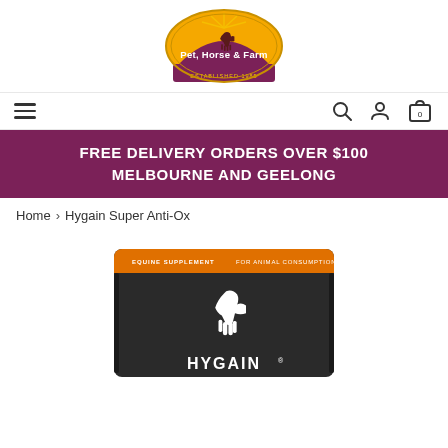[Figure (logo): Pet, Horse & Farm logo — Vanderpolis's brand, circular badge with horse and rider silhouette, golden/yellow arc, burgundy banner, text 'Pet, Horse & Farm' and 'Established 1985']
Navigation bar with hamburger menu, search icon, account icon, and cart icon showing 0 items
FREE DELIVERY ORDERS OVER $100 MELBOURNE AND GEELONG
Home > Hygain Super Anti-Ox
[Figure (photo): Hygain Super Anti-Ox equine supplement product bag — dark/charcoal colored pouch with orange top band. Text on bag: 'EQUINE SUPPLEMENT' on left, 'FOR ANIMAL CONSUMPTION ONLY' on right. White horse logo and HYGAIN brand name visible on the dark bag.]